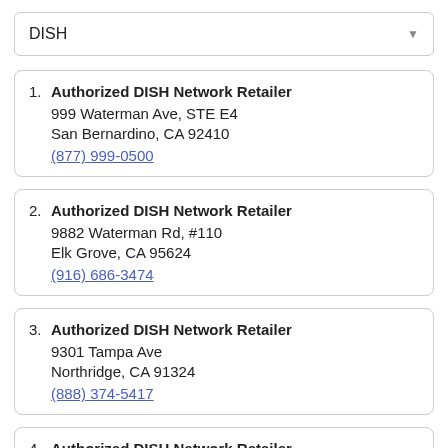DISH
1. Authorized DISH Network Retailer
999 Waterman Ave, STE E4
San Bernardino, CA 92410
(877) 999-0500
2. Authorized DISH Network Retailer
9882 Waterman Rd, #110
Elk Grove, CA 95624
(916) 686-3474
3. Authorized DISH Network Retailer
9301 Tampa Ave
Northridge, CA 91324
(888) 374-5417
4. Authorized DISH Network Retailer (partial)